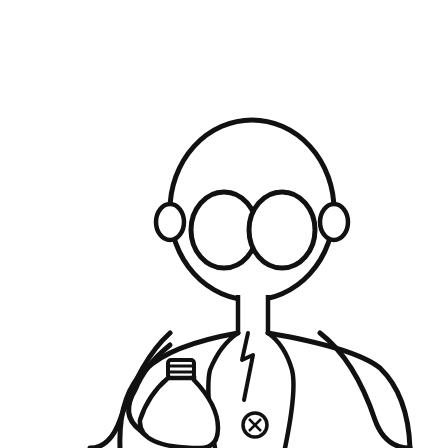Draw flat technical sketches in illustrator
[Figure (illustration): Flat technical sketch illustration of a cartoon scientist/doctor character: bald head, large round goggles/glasses for eyes, ears on sides, neck, wearing a lab coat with a tie and button, holding a laboratory flask/beaker in one hand. Drawn in black outline on white background.]